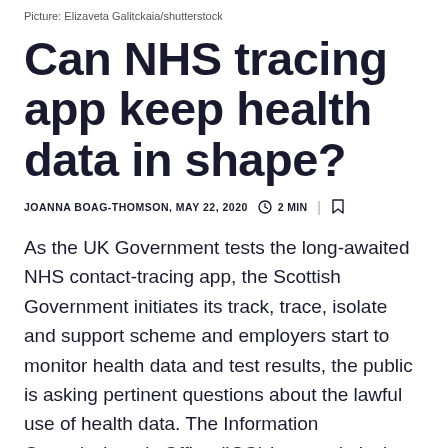Picture: Elizaveta Galitckaia/shutterstock
Can NHS tracing app keep health data in shape?
JOANNA BOAG-THOMSON, MAY 22, 2020  ⊙ 2 MIN  |  🔖
As the UK Government tests the long-awaited NHS contact-tracing app, the Scottish Government initiates its track, trace, isolate and support scheme and employers start to monitor health data and test results, the public is asking pertinent questions about the lawful use of health data. The Information Commissioner's Office (ICO) has made it clear in various statements since the start of this pandemic that data protection laws do not prevent the